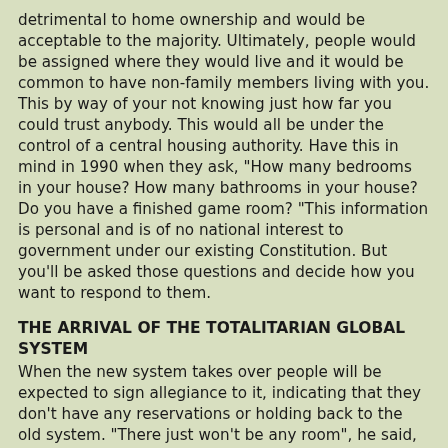detrimental to home ownership and would be acceptable to the majority. Ultimately, people would be assigned where they would live and it would be common to have non-family members living with you. This by way of your not knowing just how far you could trust anybody. This would all be under the control of a central housing authority. Have this in mind in 1990 when they ask, "How many bedrooms in your house? How many bathrooms in your house? Do you have a finished game room? "This information is personal and is of no national interest to government under our existing Constitution. But you'll be asked those questions and decide how you want to respond to them.
THE ARRIVAL OF THE TOTALITARIAN GLOBAL SYSTEM
When the new system takes over people will be expected to sign allegiance to it, indicating that they don't have any reservations or holding back to the old system. "There just won't be any room", he said, "for people who won't go along. We can't have such people cluttering up the place so such people would be taken to special places", and here I don't remember the exact words, but the inference I drew was that at these special places where they were taken, then they